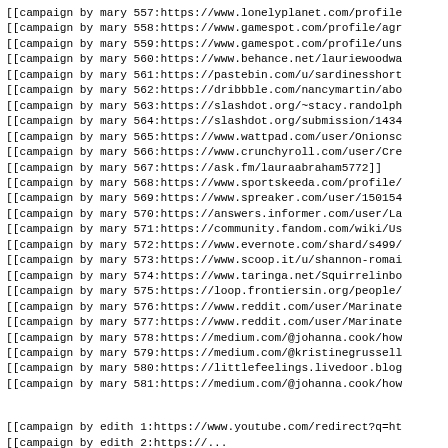[[campaign by mary 557:https://www.lonelyplanet.com/profile
[[campaign by mary 558:https://www.gamespot.com/profile/agr
[[campaign by mary 559:https://www.gamespot.com/profile/uns
[[campaign by mary 560:https://www.behance.net/lauriewoodwa
[[campaign by mary 561:https://pastebin.com/u/sardinesshort
[[campaign by mary 562:https://dribbble.com/nancymartin/abo
[[campaign by mary 563:https://slashdot.org/~stacy.randolph
[[campaign by mary 564:https://slashdot.org/submission/1434
[[campaign by mary 565:https://www.wattpad.com/user/Onionsc
[[campaign by mary 566:https://www.crunchyroll.com/user/Cre
[[campaign by mary 567:https://ask.fm/lauraabraham5772]]
[[campaign by mary 568:https://www.sportskeeda.com/profile/
[[campaign by mary 569:https://www.spreaker.com/user/150154
[[campaign by mary 570:https://answers.informer.com/user/La
[[campaign by mary 571:https://community.fandom.com/wiki/Us
[[campaign by mary 572:https://www.evernote.com/shard/s499/
[[campaign by mary 573:https://www.scoop.it/u/shannon-romai
[[campaign by mary 574:https://www.taringa.net/Squirrelinbo
[[campaign by mary 575:https://loop.frontiersin.org/people/
[[campaign by mary 576:https://www.reddit.com/user/Marinate
[[campaign by mary 577:https://www.reddit.com/user/Marinate
[[campaign by mary 578:https://medium.com/@johanna.cook/how
[[campaign by mary 579:https://medium.com/@kristinegrussell
[[campaign by mary 580:https://littlefeelings.livedoor.blog
[[campaign by mary 581:https://medium.com/@johanna.cook/how
[[campaign by edith 1:https://www.youtube.com/redirect?q=ht
[[campaign by edith 2:https://...